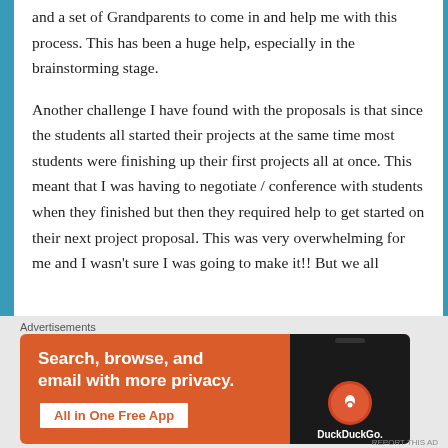and a set of Grandparents to come in and help me with this process.  This has been a huge help, especially in the brainstorming stage.

Another challenge I have found with the proposals is that since the students all started their projects at the same time most students were finishing up their first projects all at once.  This meant that I was having to negotiate / conference with students when they finished but then they required help to get started on their next project proposal. This was very overwhelming for me and I wasn't sure I was going to make it!!  But we all
[Figure (screenshot): DuckDuckGo advertisement banner: orange background with white text 'Search, browse, and email with more privacy. All in One Free App' and a phone graphic showing the DuckDuckGo app logo]